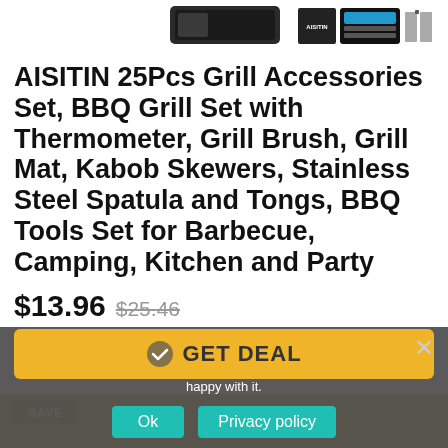[Figure (photo): Product image bar showing AISITIN grill accessories set packaging and tools]
AISITIN 25Pcs Grill Accessories Set, BBQ Grill Set with Thermometer, Grill Brush, Grill Mat, Kabob Skewers, Stainless Steel Spatula and Tongs, BBQ Tools Set for Barbecue, Camping, Kitchen and Party
$13.96  $25.46
GET DEAL
We use cookies to ensure that we give you the best experience on our website. If you continue to use this site we will assume that you are happy with it.
Ok
Privacy policy
SAVE
GET DEAL